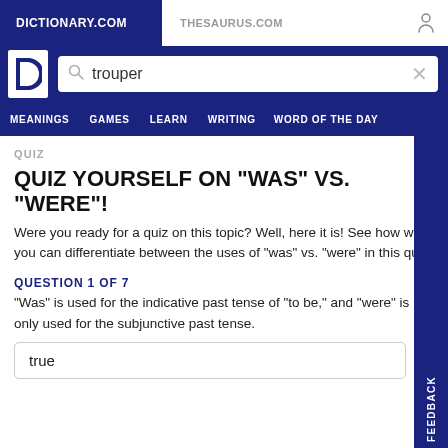DICTIONARY.COM  THESAURUS.COM
trouper
MEANINGS  GAMES  LEARN  WRITING  WORD OF THE DAY
QUIZ
QUIZ YOURSELF ON "WAS" VS. "WERE"!
Were you ready for a quiz on this topic? Well, here it is! See how well you can differentiate between the uses of "was" vs. "were" in this quiz.
QUESTION 1 OF 7
“Was” is used for the indicative past tense of “to be,” and “were” is only used for the subjunctive past tense.
true